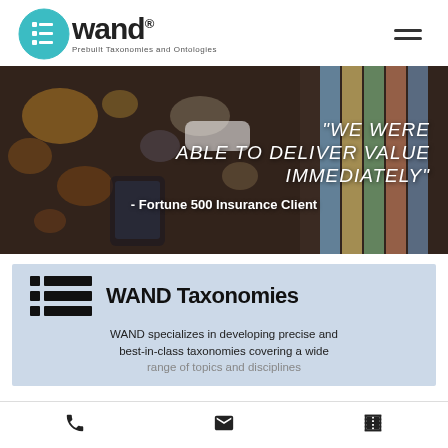[Figure (logo): WAND logo with teal circular icon featuring horizontal lines, bold 'wand' text with registered trademark, tagline 'Prebuilt Taxonomies and Ontologies']
[Figure (photo): Banner image showing hands holding a smartphone with bokeh city lights background and colorful vertical stripes on the right side. Quote text: 'We were able to deliver value immediately' attributed to Fortune 500 Insurance Client]
WAND Taxonomies
WAND specializes in developing precise and best-in-class taxonomies covering a wide